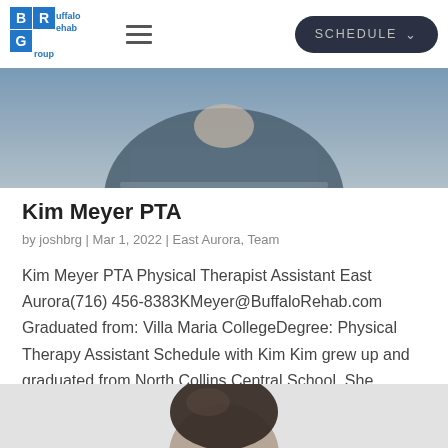Buffalo Rehab Group — SCHEDULE
[Figure (photo): Cropped photo of Kim Meyer PTA, showing torso in blue/gray outfit, top portion only visible]
Kim Meyer PTA
by joshbrg | Mar 1, 2022 | East Aurora, Team
Kim Meyer PTA Physical Therapist Assistant East Aurora(716) 456-8383KMeyer@BuffaloRehab.com Graduated from: Villa Maria CollegeDegree: Physical Therapy Assistant Schedule with Kim Kim grew up and graduated from North Collins Central School. She currently lives in Eden...
[Figure (photo): Bottom portion showing top of head of another staff member, cropped at bottom of page]